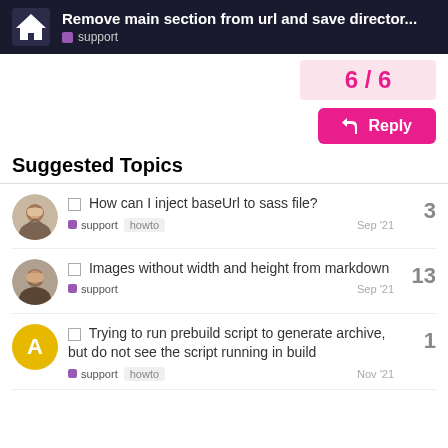Remove main section from url and save director... | support
6 / 6
Reply
Suggested Topics
How can I inject baseUrl to sass file? — support howto — Sep '21 — 3 replies
Images without width and height from markdown — support — Sep '21 — 13 replies
Trying to run prebuild script to generate archive, but do not see the script running in build — support howto — Nov '21 — 1 reply